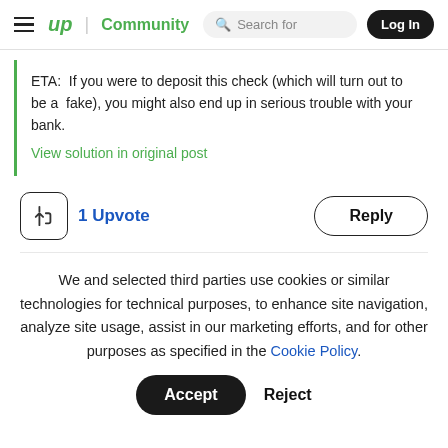up | Community   Search for   Log In
ETA:  If you were to deposit this check (which will turn out to be a  fake), you might also end up in serious trouble with your bank.
View solution in original post
1 Upvote   Reply
We and selected third parties use cookies or similar technologies for technical purposes, to enhance site navigation, analyze site usage, assist in our marketing efforts, and for other purposes as specified in the Cookie Policy.
Accept
Reject